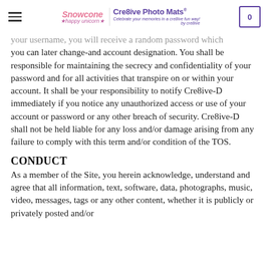Snowcone Happy Unicorn | Cre8ive Photo Mats
your username, you will receive a random password which you can later change-and account designation. You shall be responsible for maintaining the secrecy and confidentiality of your password and for all activities that transpire on or within your account. It shall be your responsibility to notify Cre8ive-D immediately if you notice any unauthorized access or use of your account or password or any other breach of security. Cre8ive-D shall not be held liable for any loss and/or damage arising from any failure to comply with this term and/or condition of the TOS.
CONDUCT
As a member of the Site, you herein acknowledge, understand and agree that all information, text, software, data, photographs, music, video, messages, tags or any other content, whether it is publicly or privately posted and/or